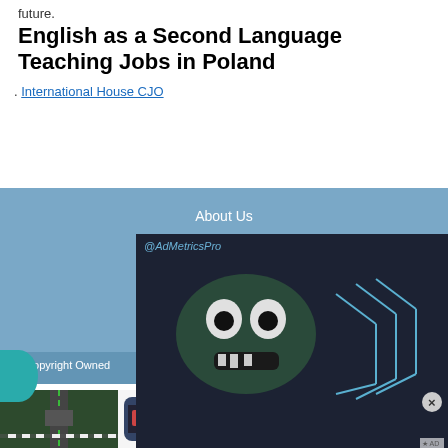future.
English as a Second Language Teaching Jobs in Poland
. International House CJO
About Us
K-12 Teacher Newsletter
Help
Privacy
Site Map
© Copyright Owned
[Figure (screenshot): AdMetricsPro ad overlay with animated monster character and game advertisement for Traffic Cop 3D]